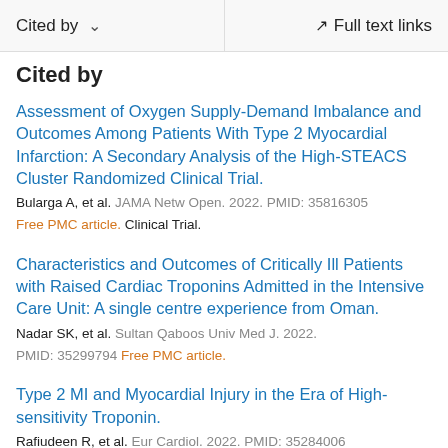Cited by   ∨   Full text links
Cited by
Assessment of Oxygen Supply-Demand Imbalance and Outcomes Among Patients With Type 2 Myocardial Infarction: A Secondary Analysis of the High-STEACS Cluster Randomized Clinical Trial.
Bularga A, et al. JAMA Netw Open. 2022. PMID: 35816305 Free PMC article. Clinical Trial.
Characteristics and Outcomes of Critically Ill Patients with Raised Cardiac Troponins Admitted in the Intensive Care Unit: A single centre experience from Oman.
Nadar SK, et al. Sultan Qaboos Univ Med J. 2022. PMID: 35299794 Free PMC article.
Type 2 MI and Myocardial Injury in the Era of High-sensitivity Troponin.
Rafiudeen R, et al. Eur Cardiol. 2022. PMID: 35284006